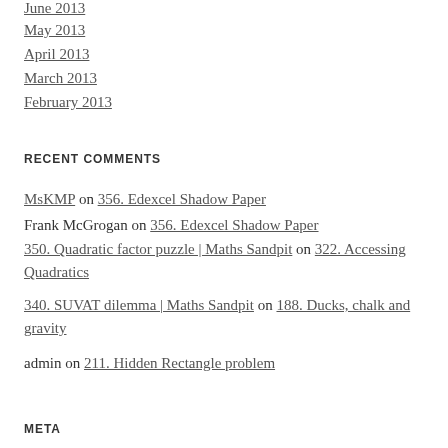June 2013
May 2013
April 2013
March 2013
February 2013
RECENT COMMENTS
MsKMP on 356. Edexcel Shadow Paper
Frank McGrogan on 356. Edexcel Shadow Paper
350. Quadratic factor puzzle | Maths Sandpit on 322. Accessing Quadratics
340. SUVAT dilemma | Maths Sandpit on 188. Ducks, chalk and gravity
admin on 211. Hidden Rectangle problem
META